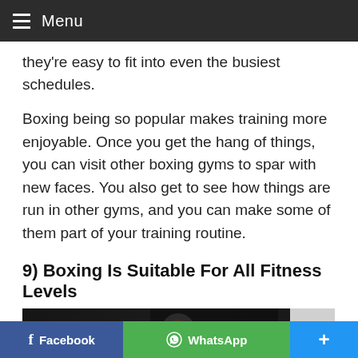Menu
they're easy to fit into even the busiest schedules.
Boxing being so popular makes training more enjoyable. Once you get the hang of things, you can visit other boxing gyms to spar with new faces. You also get to see how things are run in other gyms, and you can make some of them part of your training routine.
9) Boxing Is Suitable For All Fitness Levels
[Figure (photo): A boxer in a dark gym, partial view with 'RIOR' text visible in background]
Facebook  WhatsApp  +